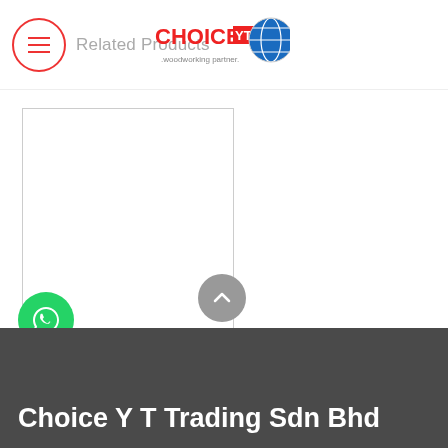Related Products
[Figure (logo): Choice YT woodworking partner logo with globe icon]
[Figure (photo): White blank product image placeholder for PREMIER 3200V Sliding Table Saw Machine]
PREMIER 3200V Sliding Table Saw Machine (Pre-Order)
[Figure (logo): WhatsApp green circle button icon]
[Figure (other): Scroll to top chevron button]
Choice Y T Trading Sdn Bhd